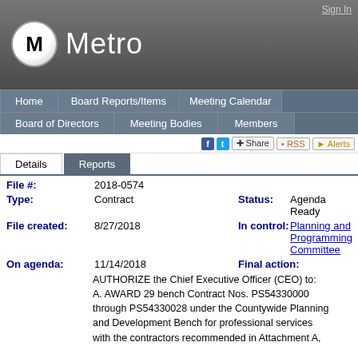Metro
Sign In
Home | Board Reports/Items | Meeting Calendar | Board of Directors | Meeting Bodies | Members
Details | Reports
File #: 2018-0574
Type: Contract | Status: Agenda Ready
File created: 8/27/2018 | In control: Planning and Programming Committee
On agenda: 11/14/2018 | Final action:
AUTHORIZE the Chief Executive Officer (CEO) to: A. AWARD 29 bench Contract Nos. PS54330000 through PS54330028 under the Countywide Planning and Development Bench for professional services with the contractors recommended in Attachment A,